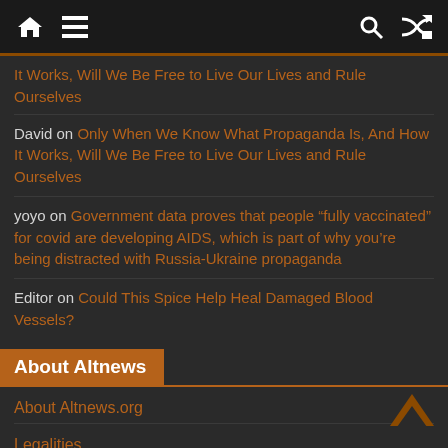Navigation bar with home, menu, search, and shuffle icons
It Works, Will We Be Free to Live Our Lives and Rule Ourselves
David on Only When We Know What Propaganda Is, And How It Works, Will We Be Free to Live Our Lives and Rule Ourselves
yoyo on Government data proves that people “fully vaccinated” for covid are developing AIDS, which is part of why you’re being distracted with Russia-Ukraine propaganda
Editor on Could This Spice Help Heal Damaged Blood Vessels?
About Altnews
About Altnews.org
Legalities
System Notices